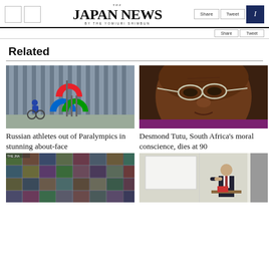THE JAPAN NEWS BY THE YOMIURI SHIMBUN
Related
[Figure (photo): Person in wheelchair passing the Paralympic symbol logo (agitos) — red, blue, and green curves — in front of a building]
Russian athletes out of Paralympics in stunning about-face
[Figure (photo): Close-up portrait of Desmond Tutu, elderly man with glasses, wearing purple clerical robes]
Desmond Tutu, South Africa's moral conscience, dies at 90
[Figure (photo): Collage of many small photographs arranged in a grid]
[Figure (photo): Man in suit speaking or presenting in a room, partial view]